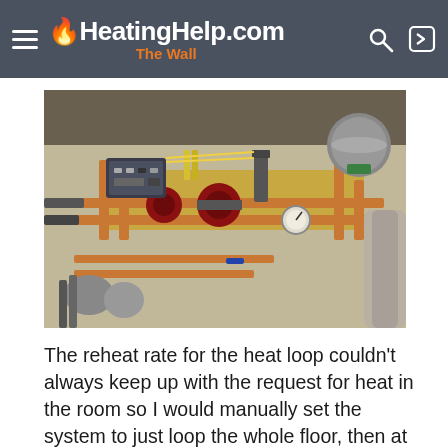HeatingHelp.com The Wall
[Figure (photo): Photo of a hydronic heating system installation showing copper pipes, circulators/pumps, control panel, pressure gauge, and an expansion tank mounted on a concrete wall in a mechanical room.]
The reheat rate for the heat loop couldn't always keep up with the request for heat in the room so I would manually set the system to just loop the whole floor, then at times I had excess hot water available so I will be making a few upgrades/changes for the upcoming season. One will be to jacket the copper pipes with